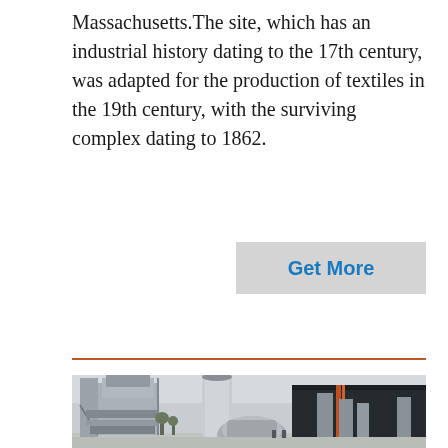Massachusetts. The site, which has an industrial history dating to the 17th century, was adapted for the production of textiles in the 19th century, with the surviving complex dating to 1862.
[Figure (photo): Industrial facility with large tower structure on the left featuring multiple levels and steel framework, a tall central white chimney/silo, and a dark modern building on the right with orange accent stripes and additional chimneys. Ground level shows a paved area. Sky is overcast.]